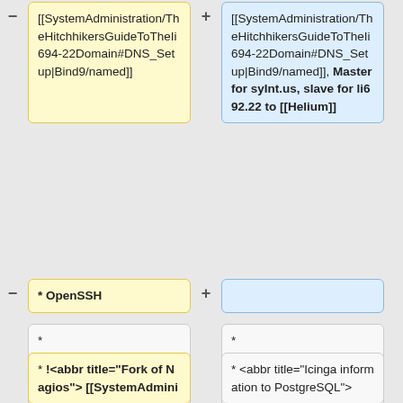[[SystemAdministration/TheHitchhikersGuideToTheIi694-22Domain#DNS_Setup|Bind9/named]]
[[SystemAdministration/TheHitchhikersGuideToTheIi694-22Domain#DNS_Setup|Bind9/named]], Master for syInt.us, slave for li692.22 to [[Helium]]
* OpenSSH
* [[SystemAdministration/Server/Boron/PostgreSQL|PostgreSQL]]
* [[SystemAdministration/Server/Boron/PostgreSQL|PostgreSQL]]
* !<abbr title="Fork of Nagios">[[SystemAdmini
* <abbr title="Icinga information to PostgreSQL">